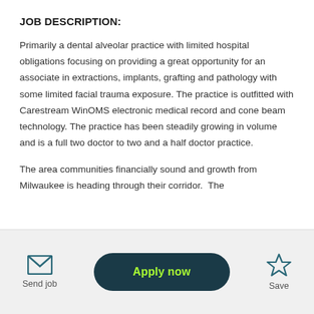JOB DESCRIPTION:
Primarily a dental alveolar practice with limited hospital obligations focusing on providing a great opportunity for an associate in extractions, implants, grafting and pathology with some limited facial trauma exposure. The practice is outfitted with Carestream WinOMS electronic medical record and cone beam technology. The practice has been steadily growing in volume and is a full two doctor to two and a half doctor practice.
The area communities financially sound and growth from Milwaukee is heading through their corridor.  The